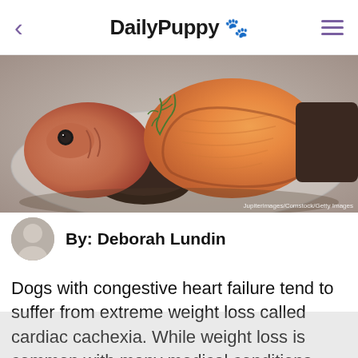DailyPuppy 🐾
[Figure (photo): Raw fish on a plate — a whole fish head and salmon steaks with dill garnish, on a glass plate with dark piece of fish. Photo credit: Jupiterimages/Comstock/Getty Images]
By: Deborah Lundin
Dogs with congestive heart failure tend to suffer from extreme weight loss called cardiac cachexia. While weight loss is common with many medical conditions, this particular weight loss, known as cardiac cachexia, occurs at a fast rate and causes the loss of both muscle mass and body fat